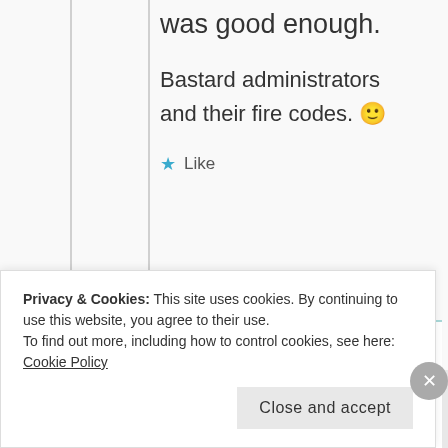was good enough.
Bastard administrators and their fire codes. 🙂
★ Like
Andromeda
April 6, 2012 at 8:06 pm
Privacy & Cookies: This site uses cookies. By continuing to use this website, you agree to their use. To find out more, including how to control cookies, see here: Cookie Policy
Close and accept